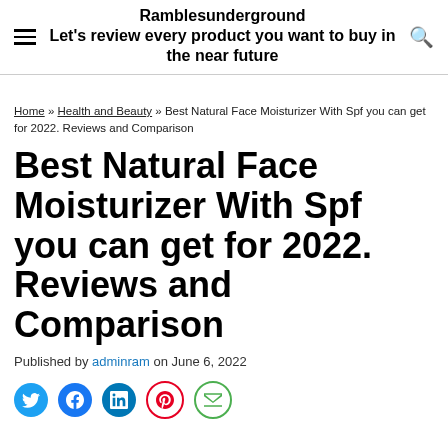Ramblesunderground — Let's review every product you want to buy in the near future
Home » Health and Beauty » Best Natural Face Moisturizer With Spf you can get for 2022. Reviews and Comparison
Best Natural Face Moisturizer With Spf you can get for 2022. Reviews and Comparison
Published by adminram on June 6, 2022
[Figure (other): Social sharing icons: Twitter, Facebook, LinkedIn, Pinterest, Email]